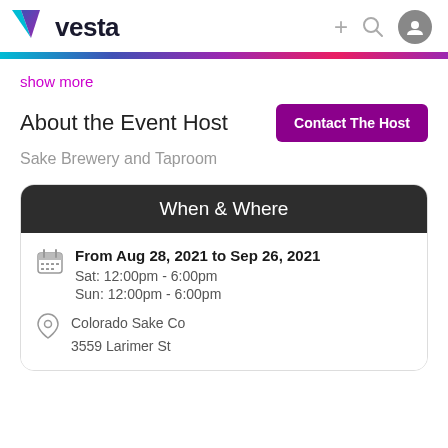vesta
show more
About the Event Host
Contact The Host
Sake Brewery and Taproom
When & Where
From Aug 28, 2021 to Sep 26, 2021
Sat:  12:00pm - 6:00pm
Sun: 12:00pm - 6:00pm
Colorado Sake Co
3559 Larimer St